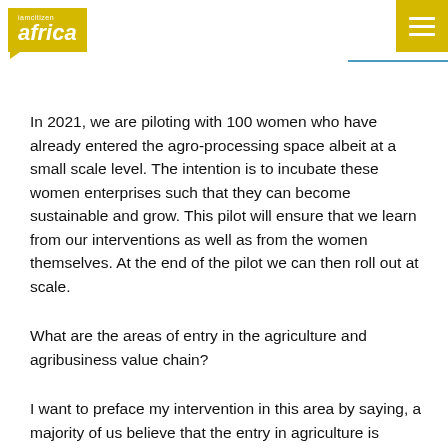iamcitizen africa
In 2021, we are piloting with 100 women who have already entered the agro-processing space albeit at a small scale level. The intention is to incubate these women enterprises such that they can become sustainable and grow. This pilot will ensure that we learn from our interventions as well as from the women themselves. At the end of the pilot we can then roll out at scale.
What are the areas of entry in the agriculture and agribusiness value chain?
I want to preface my intervention in this area by saying, a majority of us believe that the entry in agriculture is through ownership and access to land. Yes, when it